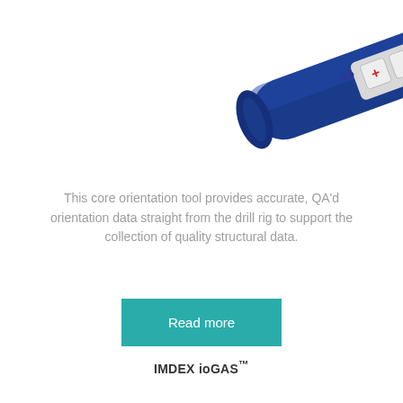[Figure (photo): A blue handheld core orientation tool device shown at a diagonal angle, with buttons labeled + and - and SET on the body, and a silver angled tip at the end. The device is partially cropped at the top of the page.]
This core orientation tool provides accurate, QA'd orientation data straight from the drill rig to support the collection of quality structural data.
Read more
IMDEX ioGAS™